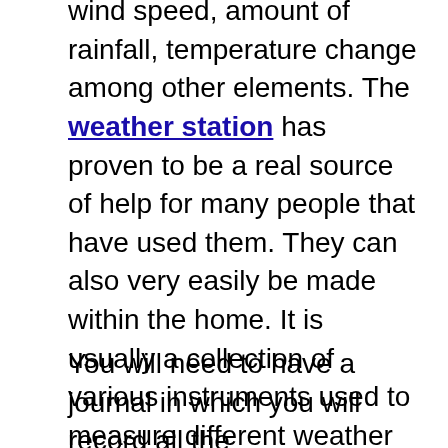wind speed, amount of rainfall, temperature change among other elements. The weather station has proven to be a real source of help for many people that have used them. They can also very easily be made within the home. It is usually a collection of various instruments used to measure different weather elements and the assembling can very easily be done at home. The putting together of the entire station can be a fun and interesting activity that you can all get involved in as a family. Below are the steps that you can follow to get the station.
You will need to have a journal in which you will record all the informationthat you will read from the various weather instruments. Ensure that the recording of information is done at the same time every day so that you can be able to record the weather patterns.